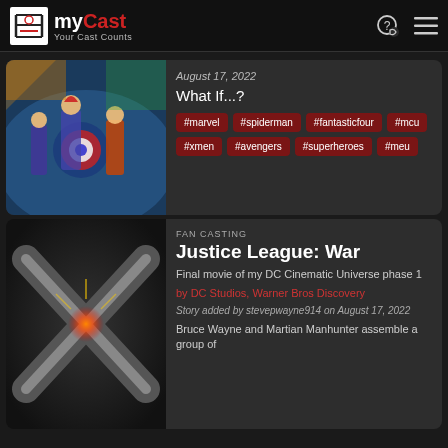myCast — Your Cast Counts
August 17, 2022
What If...?
#marvel
#spiderman
#fantasticfour
#mcu
#xmen
#avengers
#superheroes
#meu
FAN CASTING
Justice League: War
Final movie of my DC Cinematic Universe phase 1
by DC Studios, Warner Bros. Discovery
Story added by stevepwayne914 on August 17, 2022
Bruce Wayne and Martian Manhunter assemble a group of